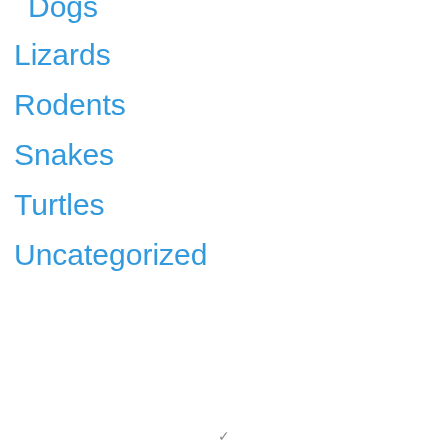Dogs
Lizards
Rodents
Snakes
Turtles
Uncategorized